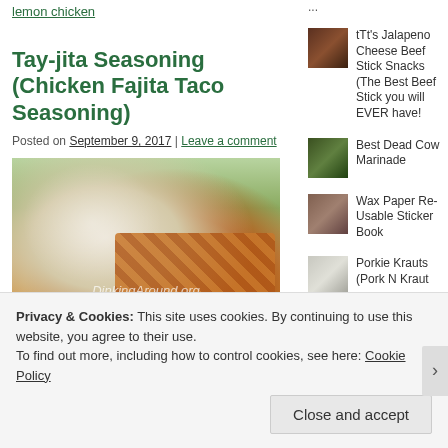lemon chicken
Tay-jita Seasoning (Chicken Fajita Taco Seasoning)
Posted on September 9, 2017 | Leave a comment
[Figure (photo): Plate of chicken fajita tacos with jalapeños, lettuce, salsa, and tater tots. Watermark: DinkingAround.org]
tTt's Jalapeno Cheese Beef Stick Snacks (The Best Beef Stick you will EVER have!
Best Dead Cow Marinade
Wax Paper Re-Usable Sticker Book
Porkie Krauts (Pork N Kraut
Privacy & Cookies: This site uses cookies. By continuing to use this website, you agree to their use.
To find out more, including how to control cookies, see here: Cookie Policy
Close and accept